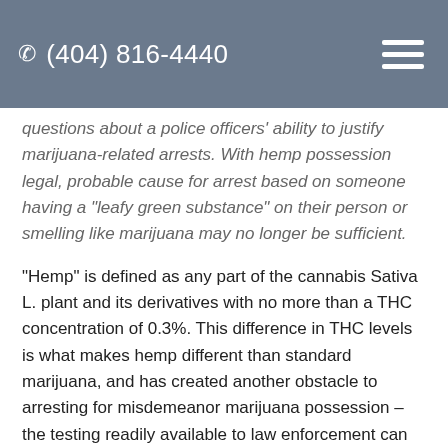(404) 816-4440
questions about a police officers' ability to justify marijuana-related arrests. With hemp possession legal, probable cause for arrest based on someone having a "leafy green substance" on their person or smelling like marijuana may no longer be sufficient.
"Hemp" is defined as any part of the cannabis Sativa L. plant and its derivatives with no more than a THC concentration of 0.3%. This difference in THC levels is what makes hemp different than standard marijuana, and has created another obstacle to arresting for misdemeanor marijuana possession – the testing readily available to law enforcement can determine whether there is THC is a substance but cannot determine how much. Without the ability to see precisely how much THC is in a substance, it is impossible to differentiate the two.
As we have seen from the Gwinnett County Police D...